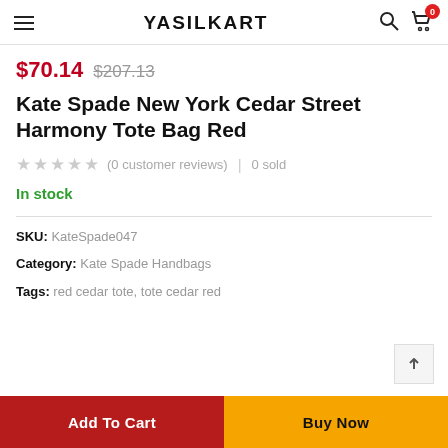YASILKART
$70.14 $207.13
Kate Spade New York Cedar Street Harmony Tote Bag Red
(0 customer reviews) | 0 sold
In stock
SKU: KateSpade047
Category: Kate Spade Handbags
Tags: red cedar tote, tote cedar red